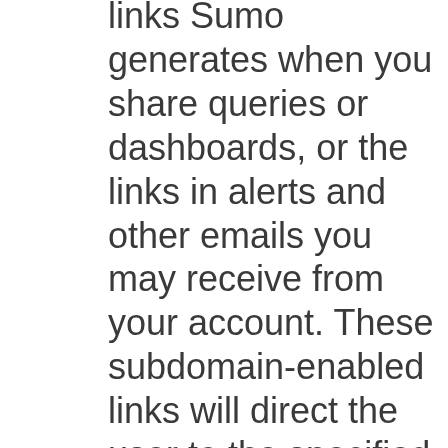links Sumo generates when you share queries or dashboards, or the links in alerts and other emails you may receive from your account. These subdomain-enabled links will direct the user to the specified account for authentication.

When you use